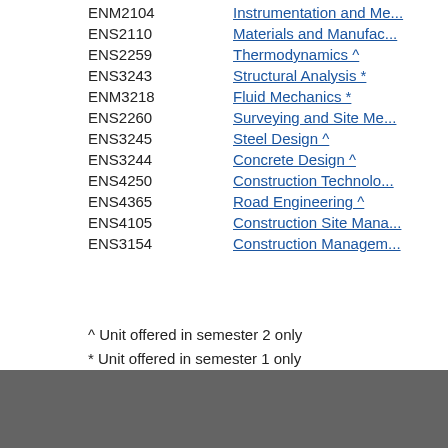ENM2104 Instrumentation and Me...
ENS2110 Materials and Manufac...
ENS2259 Thermodynamics ^
ENS3243 Structural Analysis *
ENM3218 Fluid Mechanics *
ENS2260 Surveying and Site Me...
ENS3245 Steel Design ^
ENS3244 Concrete Design ^
ENS4250 Construction Technolo...
ENS4365 Road Engineering ^
ENS4105 Construction Site Mana...
ENS3154 Construction Managem...
^ Unit offered in semester 2 only
* Unit offered in semester 1 only
Last Updated - Higher Education: 31/03/2010 VET: 31/...
Got a Question? Ask Us  Contact us  Phone 134 ECU (134 328)  Co-op Bookshop  International  Library